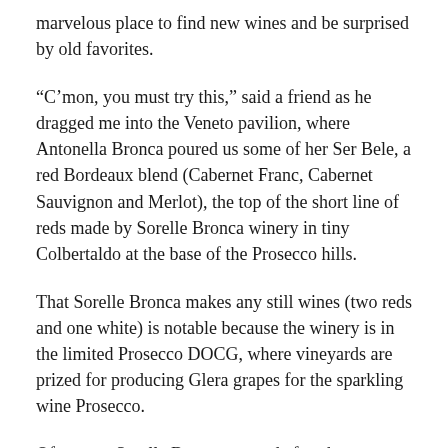marvelous place to find new wines and be surprised by old favorites.
“C’mon, you must try this,” said a friend as he dragged me into the Veneto pavilion, where Antonella Bronca poured us some of her Ser Bele, a red Bordeaux blend (Cabernet Franc, Cabernet Sauvignon and Merlot), the top of the short line of reds made by Sorelle Bronca winery in tiny Colbertaldo at the base of the Prosecco hills.
That Sorelle Bronca makes any still wines (two reds and one white) is notable because the winery is in the limited Prosecco DOCG, where vineyards are prized for producing Glera grapes for the sparkling wine Prosecco.
Of course, Sorelle Bronca, named after the two Bronca sisters, Atonella and Ersiliana, makes delightful Prosecci, particularly their Particela 68, named after a small